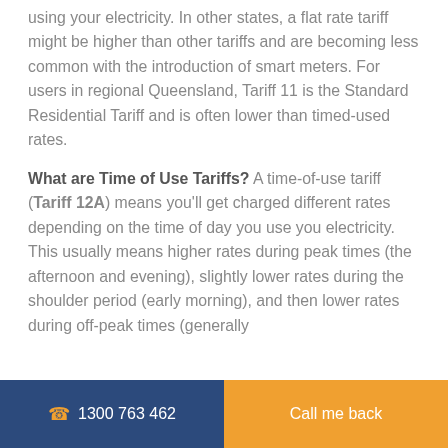using your electricity. In other states, a flat rate tariff might be higher than other tariffs and are becoming less common with the introduction of smart meters. For users in regional Queensland, Tariff 11 is the Standard Residential Tariff and is often lower than timed-used rates.
What are Time of Use Tariffs? A time-of-use tariff (Tariff 12A) means you'll get charged different rates depending on the time of day you use you electricity. This usually means higher rates during peak times (the afternoon and evening), slightly lower rates during the shoulder period (early morning), and then lower rates during off-peak times (generally
1300 763 462   Call me back